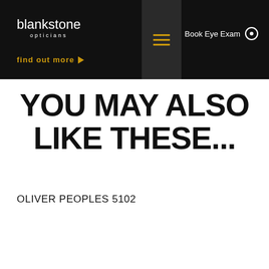[Figure (logo): Blankstone Opticians logo — white text on dark background, main text 'blankstone' and subtitle 'opticians']
[Figure (other): Hamburger menu button (three horizontal gold/amber lines) on dark panel]
Book Eye Exam
Find out more →
YOU MAY ALSO LIKE THESE...
OLIVER PEOPLES 5102